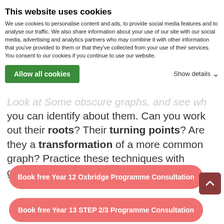Inductive Step: Show the result holds for n=k+1.
You can easily see here that the result always holds for the natural numbers.
Studying foreign and complicated graphs.
Look at Some obscure graphs, and see what you can identify about them. Can you work out their roots? Their turning points? Are they a transformation of a more common graph? Practice these techniques with graphs such as
Book free Year 12 Oxbridge Programme Consultation
Book free Year 13 STEP 2/3 Programme Consultation
Book free Year 12/13 Medicine Mastermind
TMUA, but not that common in A-Level. I would